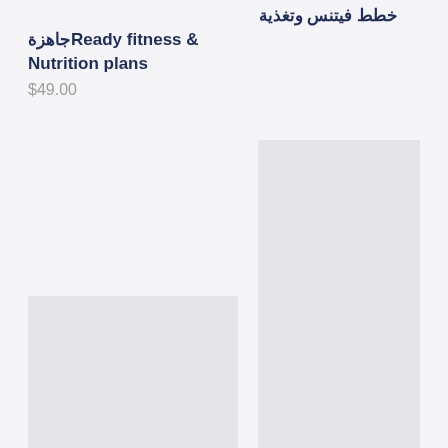خطط فيتنس وتغذية جاهزةReady fitness & Nutrition plans
$49.00
[Figure (other): Gray placeholder image for left product card]
برنامج التعافي الكامل- مع دكتور ومعالج أمريكي
$2,800.00
[Figure (other): Gray placeholder image for right product card]
البرنامج الأسري Family Program
$1,500.00